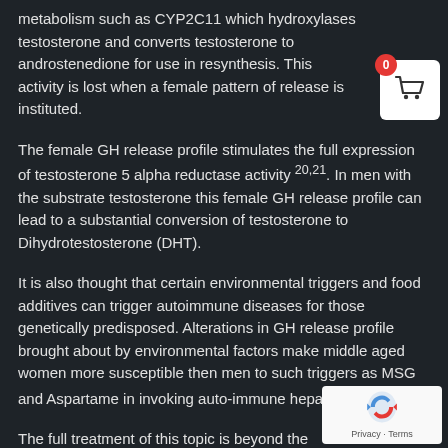metabolism such as CYP2C11 which hydroxylases testosterone and converts testosterone to androstenedione for use in resynthesis. This activity is lost when a female pattern of release is instituted.
The female GH release profile stimulates the full expression of testosterone 5 alpha reductase activity 20,21. In men with the substrate testosterone this female GH release profile can lead to a substantial conversion of testosterone to Dihydrotestosterone (DHT).
It is also thought that certain environmental triggers and food additives can trigger autoimmune diseases for those genetically predisposed. Alterations in GH release profile brought about by environmental factors make middle aged women more susceptible then men to such triggers as MSG and Aspartame in invoking auto-immune hepatitis 22.
The full treatment of this topic is beyond the scope of this review. This section was meant to underscore the fact that